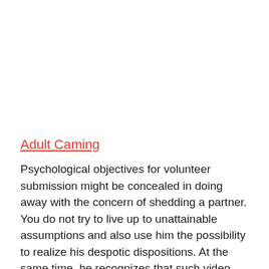Adult Caming
Psychological objectives for volunteer submission might be concealed in doing away with the concern of shedding a partner. You do not try to live up to unattainable assumptions and also use him the possibility to realize his despotic dispositions. At the same time, he recognizes that such video games are hardly possible with other